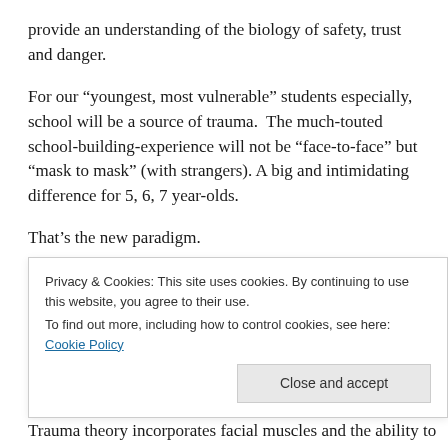provide an understanding of the biology of safety, trust and danger.
For our “youngest, most vulnerable” students especially, school will be a source of trauma. The much-touted school-building-experience will not be “face-to-face” but “mask to mask” (with strangers). A big and intimidating difference for 5, 6, 7 year-olds.
That’s the new paradigm.
Classrooms will not include socialization, only social distancing and ‘social policing’. No hugs, or even touch, for f[truncated]
Privacy & Cookies: This site uses cookies. By continuing to use this website, you agree to their use.
To find out more, including how to control cookies, see here: Cookie Policy
Trauma theory incorporates facial muscles and the ability to